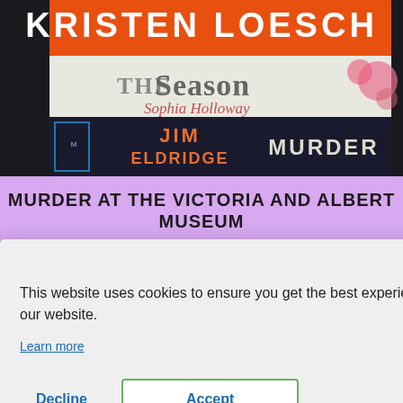[Figure (photo): Stack of book spines showing: KRISTEN LOESCH (orange spine), THE SEASON Sophia Holloway (white spine with pink flowers), JIM ELDRIDGE MURDER (dark spine)]
MURDER AT THE VICTORIA AND ALBERT MUSEUM
[Figure (photo): Thumbnail of book cover for 'Murder at the Victoria and Albert Museum' with dark background and yellow/gold text]
dridge, dle that to me. rs are take
[Figure (screenshot): Cookie consent dialog overlay: 'This website uses cookies to ensure you get the best experience on our website.' with Learn more link, Decline button, and Accept button (green border)]
Available to request on